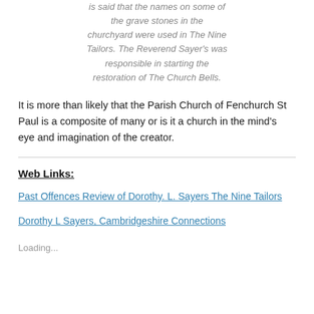is said that the names on some of the grave stones in the churchyard were used in The Nine Tailors. The Reverend Sayer's was responsible in starting the restoration of The Church Bells.
It is more than likely that the Parish Church of Fenchurch St Paul is a composite of many or is it a church in the mind's eye and imagination of the creator.
Web Links:
Past Offences Review of Dorothy. L. Sayers The Nine Tailors
Dorothy L Sayers, Cambridgeshire Connections
Loading...